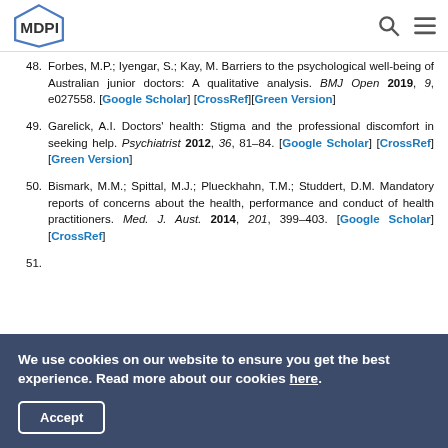MDPI header with logo, search and menu icons
48. Forbes, M.P.; Iyengar, S.; Kay, M. Barriers to the psychological well-being of Australian junior doctors: A qualitative analysis. BMJ Open 2019, 9, e027558. [Google Scholar] [CrossRef][Green Version]
49. Garelick, A.I. Doctors' health: Stigma and the professional discomfort in seeking help. Psychiatrist 2012, 36, 81–84. [Google Scholar] [CrossRef][Green Version]
50. Bismark, M.M.; Spittal, M.J.; Plueckhahn, T.M.; Studdert, D.M. Mandatory reports of concerns about the health, performance and conduct of health practitioners. Med. J. Aust. 2014, 201, 399–403. [Google Scholar] [CrossRef]
We use cookies on our website to ensure you get the best experience. Read more about our cookies here. [Accept button]